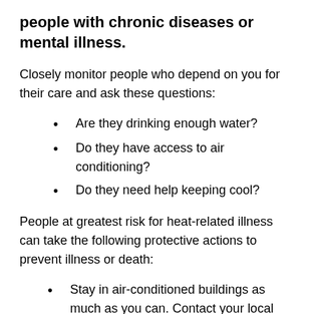people with chronic diseases or mental illness.
Closely monitor people who depend on you for their care and ask these questions:
Are they drinking enough water?
Do they have access to air conditioning?
Do they need help keeping cool?
People at greatest risk for heat-related illness can take the following protective actions to prevent illness or death:
Stay in air-conditioned buildings as much as you can. Contact your local health department or locate an air-conditioned shelter in your area. Air-conditioning is the number one way to protect yourself against